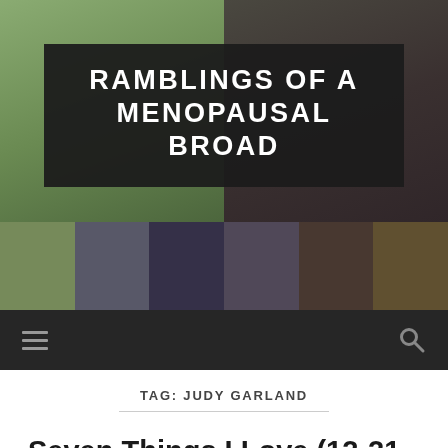[Figure (screenshot): Blog header image with outdoor photos collage and dark banner overlay]
RAMBLINGS OF A MENOPAUSAL BROAD
[Figure (screenshot): Navigation bar with hamburger menu icon on left and search icon on right, dark background]
TAG: JUDY GARLAND
Seven Things I Love (12-21-2020): Christmas Edition
DECEMBER 21, 2020 / 0 COMMENTS
It's almost Christmas